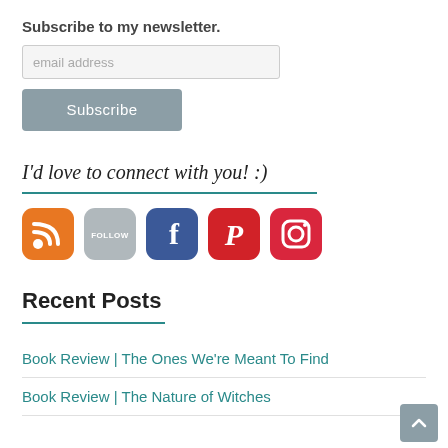Subscribe to my newsletter.
email address
Subscribe
I'd love to connect with you! :)
[Figure (illustration): Five social media icons: RSS (orange), Follow/Bloglovin (grey), Facebook (blue), Pinterest (red), Instagram (red)]
Recent Posts
Book Review | The Ones We're Meant To Find
Book Review | The Nature of Witches